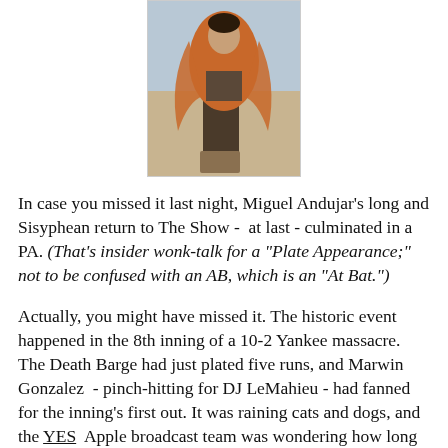[Figure (photo): A photo of a person wearing an orange/rust-colored outfit with dark pants, standing in what appears to be an outdoor setting.]
In case you missed it last night, Miguel Andujar's long and Sisyphean return to The Show -  at last - culminated in a PA. (That's insider wonk-talk for a "Plate Appearance;" not to be confused with an AB, which is an "At Bat.")
Actually, you might have missed it. The historic event happened in the 8th inning of a 10-2 Yankee massacre. The Death Barge had just plated five runs, and Marwin Gonzalez  - pinch-hitting for DJ LeMahieu - had fanned for the inning's first out. It was raining cats and dogs, and the YES Apple broadcast team was wondering how long the game could continue. The temperature was plummeting. The grounds crew was ready, and the Yankees needed outs more than base runners.